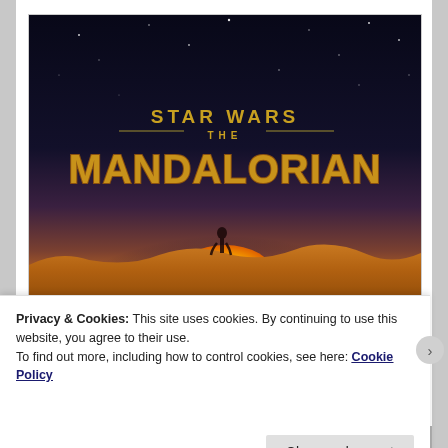[Figure (illustration): Star Wars: The Mandalorian show poster — dark starfield sky at top, golden 'STAR WARS' text with 'THE' below it, large golden/metallic 'MANDALORIAN' text in center, silhouette of a figure standing on a desert horizon with a large orange/yellow sun setting behind sandy dunes]
Privacy & Cookies: This site uses cookies. By continuing to use this website, you agree to their use.
To find out more, including how to control cookies, see here: Cookie Policy
Close and accept